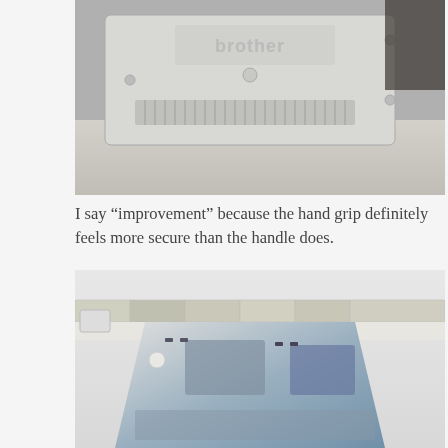[Figure (photo): Back/underside of a white Brother branded device (likely a sewing machine or printer) lying on a grey surface, showing ventilation slots and mounting points.]
I say “improvement” because the hand grip definitely feels more secure than the handle does.
[Figure (photo): A white and silver electronic device (likely a printer or scanner) standing upright on a white tiled kitchen countertop, showing its back or side panel with multiple openings.]